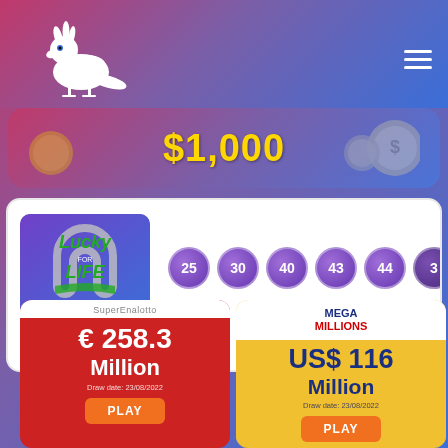[Figure (logo): White cockatiel bird silhouette logo on gradient purple-pink background with hamburger menu icon]
$1,000
[Figure (screenshot): Lucky for Life lottery card showing numbers 25, 30, 40, 43, 44, 3 for Sat, August 20, 2022]
Sat, August 20, 2022
[Figure (screenshot): SuperEnalotto card showing € 258.3 Million, Draw date: 23/08/2022, PLAY button]
[Figure (screenshot): Mega Millions card showing US$ 116 Million, Draw date: 23/08/2022, PLAY button]